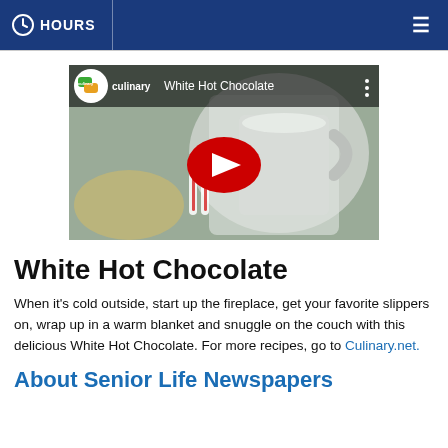HOURS
[Figure (screenshot): YouTube video thumbnail for 'White Hot Chocolate' by Culinary channel, with red YouTube play button in center, candy canes and hot chocolate mug in background, Culinary logo badge top-left, three-dot menu top-right]
White Hot Chocolate
When it's cold outside, start up the fireplace, get your favorite slippers on, wrap up in a warm blanket and snuggle on the couch with this delicious White Hot Chocolate. For more recipes, go to Culinary.net.
About Senior Life Newspapers